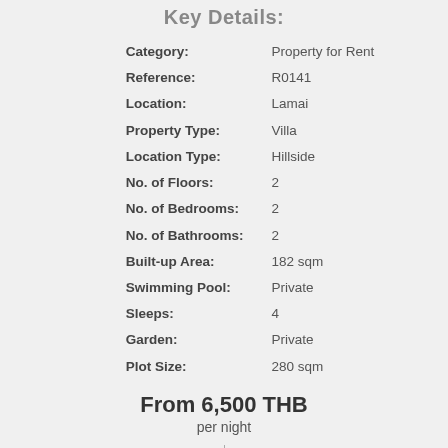Key Details:
| Field | Value |
| --- | --- |
| Category: | Property for Rent |
| Reference: | R0141 |
| Location: | Lamai |
| Property Type: | Villa |
| Location Type: | Hillside |
| No. of Floors: | 2 |
| No. of Bedrooms: | 2 |
| No. of Bathrooms: | 2 |
| Built-up Area: | 182 sqm |
| Swimming Pool: | Private |
| Sleeps: | 4 |
| Garden: | Private |
| Plot Size: | 280 sqm |
From 6,500 THB per night
178 EUR per night | 177 USD per night